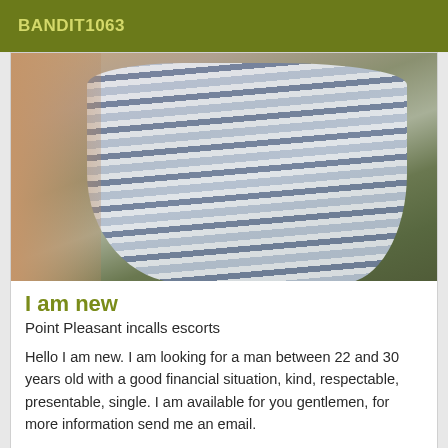BANDIT1063
[Figure (photo): Close-up photo of a person wearing a blue and white horizontal striped dress, viewed from above, standing on a gray surface. Bare feet visible at bottom.]
I am new
Point Pleasant incalls escorts
Hello I am new. I am looking for a man between 22 and 30 years old with a good financial situation, kind, respectable, presentable, single. I am available for you gentlemen, for more information send me an email.